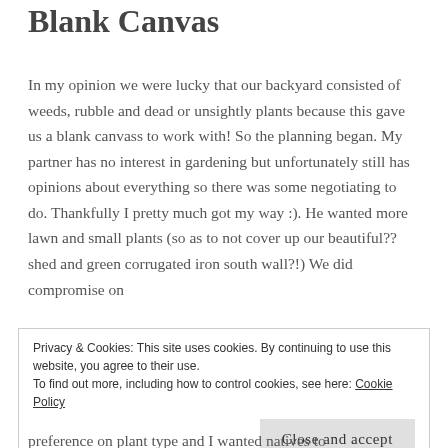Blank Canvas
In my opinion we were lucky that our backyard consisted of weeds, rubble and dead or unsightly plants because this gave us a blank canvass to work with! So the planning began. My partner has no interest in gardening but unfortunately still has opinions about everything so there was some negotiating to do. Thankfully I pretty much got my way :). He wanted more lawn and small plants (so as to not cover up our beautiful?? shed and green corrugated iron south wall?!) We did compromise on
Privacy & Cookies: This site uses cookies. By continuing to use this website, you agree to their use.
To find out more, including how to control cookies, see here: Cookie Policy
Close and accept
preference on plant type and I wanted natives to